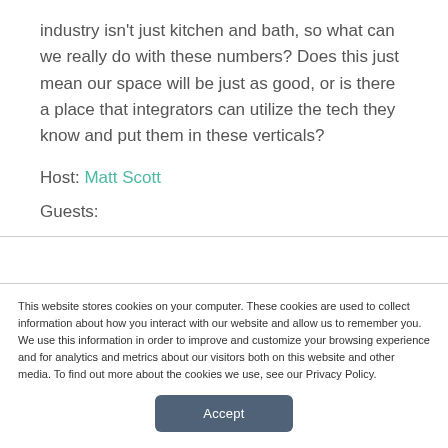industry isn't just kitchen and bath, so what can we really do with these numbers? Does this just mean our space will be just as good, or is there a place that integrators can utilize the tech they know and put them in these verticals?
Host: Matt Scott
Guests:
This website stores cookies on your computer. These cookies are used to collect information about how you interact with our website and allow us to remember you. We use this information in order to improve and customize your browsing experience and for analytics and metrics about our visitors both on this website and other media. To find out more about the cookies we use, see our Privacy Policy.
Accept